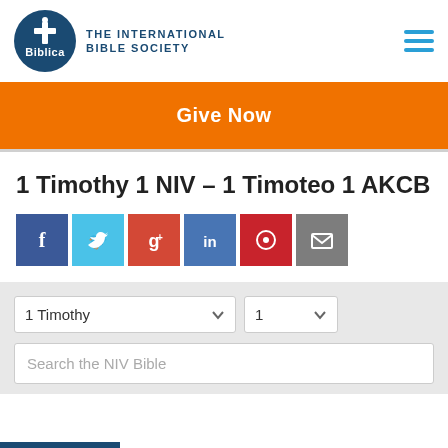[Figure (logo): Biblica - The International Bible Society logo with dark blue circular icon and text]
Give Now
1 Timothy 1 NIV – 1 Timoteo 1 AKCB
[Figure (infographic): Social media share buttons: Facebook (blue), Twitter (light blue), Google+ (red), LinkedIn (blue), Pinterest (red), Email (gray)]
1 Timothy
1
Search the NIV Bible